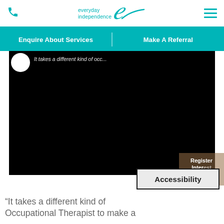everyday independence
Enquire About Services | Make A Referral
[Figure (screenshot): Dark/black video player area with white circular avatar and italic white text 'It takes a different kind of occ...']
Register Interest
Accessibility
“It takes a different kind of Occupational Therapist to make a